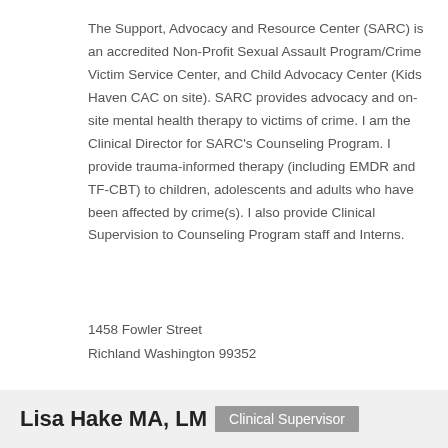The Support, Advocacy and Resource Center (SARC) is an accredited Non-Profit Sexual Assault Program/Crime Victim Service Center, and Child Advocacy Center (Kids Haven CAC on site). SARC provides advocacy and on-site mental health therapy to victims of crime. I am the Clinical Director for SARC's Counseling Program. I provide trauma-informed therapy (including EMDR and TF-CBT) to children, adolescents and adults who have been affected by crime(s). I also provide Clinical Supervision to Counseling Program staff and Interns.
1458 Fowler Street
Richland Washington 99352
5093745391  ahahn@supportadvocacyresour
Lisa Hake MA, LM  Clinical Supervisor